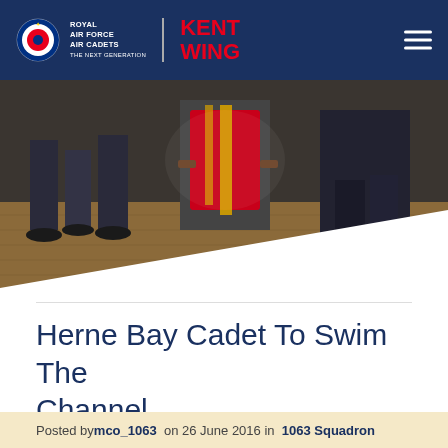Royal Air Force Air Cadets — Kent Wing
[Figure (photo): Photo showing legs and feet of cadets in uniform standing on a wooden floor, with one person seated in a chair wearing a red and yellow ceremonial garment]
Herne Bay Cadet To Swim The Channel
Posted by mco_1063 on 26 June 2016 in 1063 Squadron